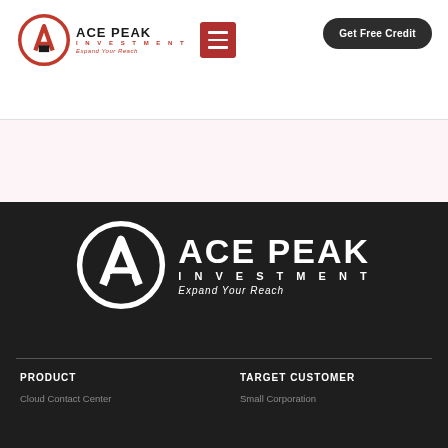[Figure (logo): Ace Peak Investment logo with circular AP icon in red and black, text 'ACE PEAK INVESTMENT' and tagline 'Expand Your Reach']
[Figure (other): Red hamburger menu button icon]
Get Free Credit
[Figure (logo): Large white Ace Peak Investment logo on dark background with circular AP icon, 'ACE PEAK INVESTMENT' text, and italic tagline 'Expand Your Reach']
PRODUCT
Cloud Contact Center
TARGET CUSTOMER
Small Corporation